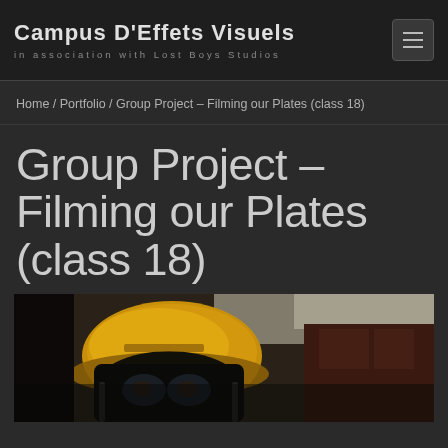Campus D'Effets Visuels — in association with Lost Boys Studios
Home / Portfolio / Group Project – Filming our Plates (class 18)
Group Project – Filming our Plates (class 18)
[Figure (photo): Photo of a person wearing a firefighter helmet and breathing mask, looking up toward the camera, indoors with dark wood cabinetry visible in the background and ceiling visible at top.]